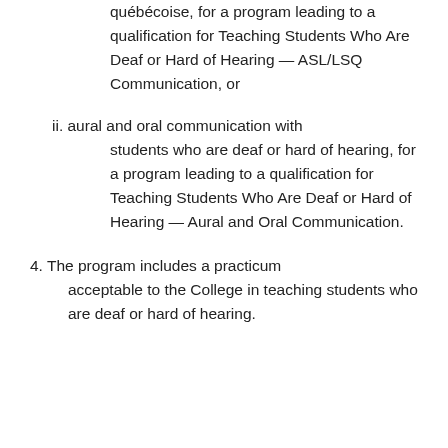québécoise, for a program leading to a qualification for Teaching Students Who Are Deaf or Hard of Hearing — ASL/LSQ Communication, or
ii. aural and oral communication with students who are deaf or hard of hearing, for a program leading to a qualification for Teaching Students Who Are Deaf or Hard of Hearing — Aural and Oral Communication.
4. The program includes a practicum acceptable to the College in teaching students who are deaf or hard of hearing.